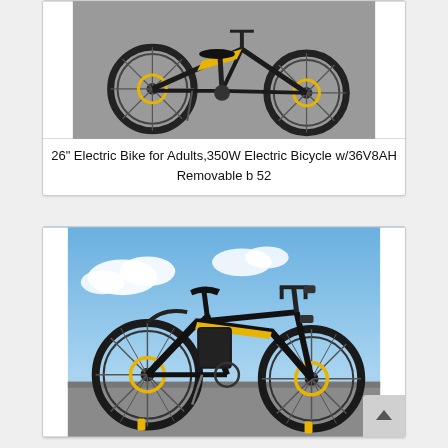[Figure (photo): Electric bicycle viewed from the rear/side angle, black frame with yellow accents, on a grey asphalt background]
26" Electric Bike for Adults,350W Electric Bicycle w/36V8AH Removable b 52
[Figure (photo): Electric bicycle viewed from the side, black frame with yellow accents, against a blue sky background with clouds, on grey asphalt]